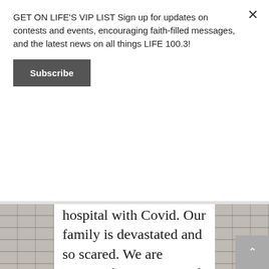GET ON LIFE'S VIP LIST Sign up for updates on contests and events, encouraging faith-filled messages, and the latest news on all things LIFE 100.3!
Subscribe
hospital with Covid. Our family is devastated and so scared. We are turning this over to God to heal and save him. He is a good man and the centre of the family. He needs to get well to see his first Granddaughter walk down the aisle next year. He needs to continue to enjoy all the family gatherings and events to come. Please pray for healing and restoration. We thank you in advance